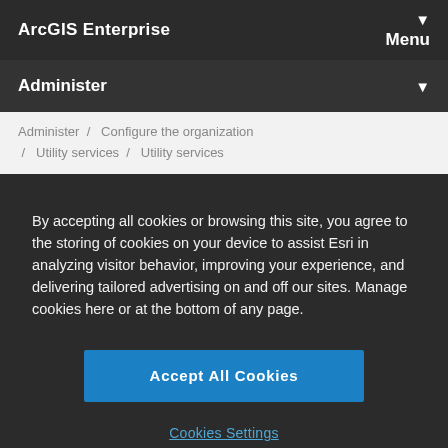ArcGIS Enterprise
Menu
Administer
Administer / Configure the organization / Utility services / Utility services
By accepting all cookies or browsing this site, you agree to the storing of cookies on your device to assist Esri in analyzing visitor behavior, improving your experience, and delivering tailored advertising on and off our sites. Manage cookies here or at the bottom of any page.
Accept All Cookies
Cookies Settings